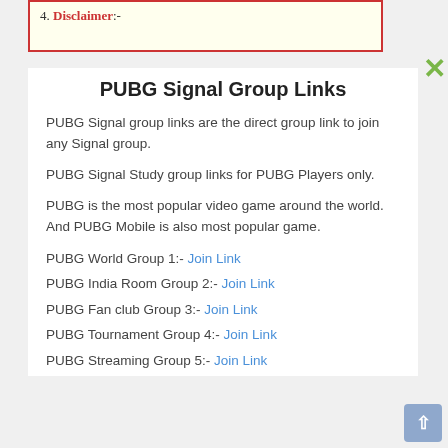4. Disclaimer:-
PUBG Signal Group Links
PUBG Signal group links are the direct group link to join any Signal group.
PUBG Signal Study group links for PUBG Players only.
PUBG is the most popular video game around the world. And PUBG Mobile is also most popular game.
PUBG World Group 1:- Join Link
PUBG India Room Group 2:- Join Link
PUBG Fan club Group 3:- Join Link
PUBG Tournament Group 4:- Join Link
PUBG Streaming Group 5:- Join Link